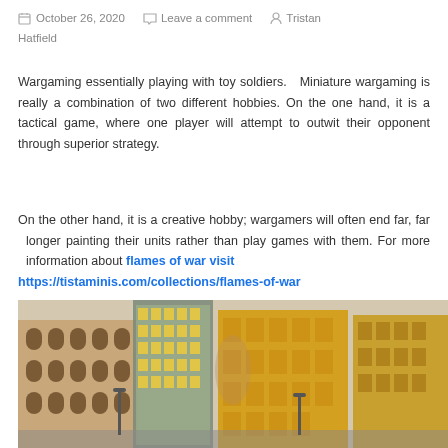October 26, 2020   Leave a comment   Tristan Hatfield
Wargaming essentially playing with toy soldiers. Miniature wargaming is really a combination of two different hobbies. On the one hand, it is a tactical game, where one player will attempt to outwit their opponent through superior strategy.
On the other hand, it is a creative hobby; wargamers will often end far, far longer painting their units rather than play games with them. For more information about flames of war visit https://tistaminis.com/collections/flames-of-war.
[Figure (photo): Street scene with European-style buildings — tan and yellow facades, a modern glass structure in the center, miniature scale model city scene used for wargaming]